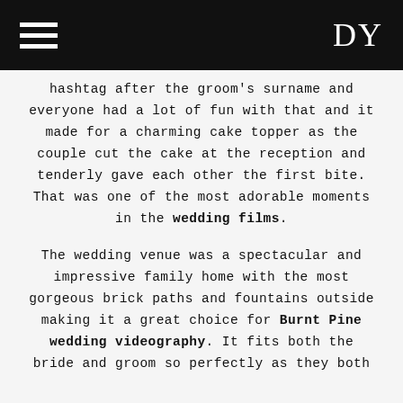DY
hashtag after the groom's surname and everyone had a lot of fun with that and it made for a charming cake topper as the couple cut the cake at the reception and tenderly gave each other the first bite. That was one of the most adorable moments in the wedding films.
The wedding venue was a spectacular and impressive family home with the most gorgeous brick paths and fountains outside making it a great choice for Burnt Pine wedding videography. It fits both the bride and groom so perfectly as they both